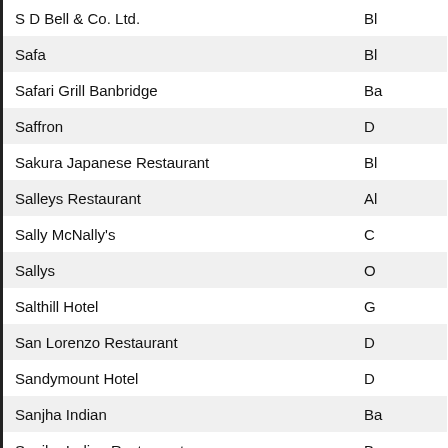| Name | Location |
| --- | --- |
| S D Bell & Co. Ltd. | Bl |
| Safa | Bl |
| Safari Grill Banbridge | Ba |
| Saffron | D |
| Sakura Japanese Restaurant | Bl |
| Salleys Restaurant | Al |
| Sally McNally's | C |
| Sallys | O |
| Salthill Hotel | G |
| San Lorenzo Restaurant | D |
| Sandymount Hotel | D |
| Sanjha Indian | Ba |
| Sanjha Indian Restaurant | Ba |
| Saphyre Restaurant | Bl |
| SarpN Group Restaurant (Indian & Nepalese) | Bl |
| Savoy Cafe | N |
| Scholars Townhouse Hotel | D |
| Scrabo Golf Club | N |